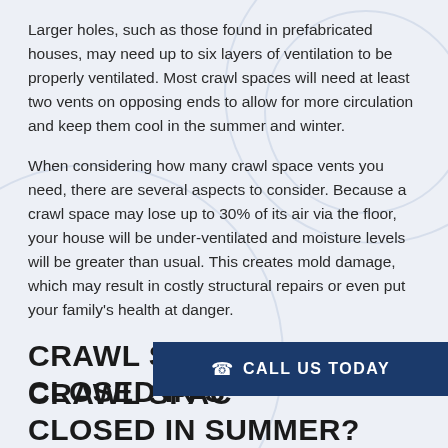Larger holes, such as those found in prefabricated houses, may need up to six layers of ventilation to be properly ventilated. Most crawl spaces will need at least two vents on opposing ends to allow for more circulation and keep them cool in the summer and winter.
When considering how many crawl space vents you need, there are several aspects to consider. Because a crawl space may lose up to 30% of its air via the floor, your house will be under-ventilated and moisture levels will be greater than usual. This creates mold damage, which may result in costly structural repairs or even put your family's health at danger.
CRAWL SPACE CLOSED IN SUMMER?